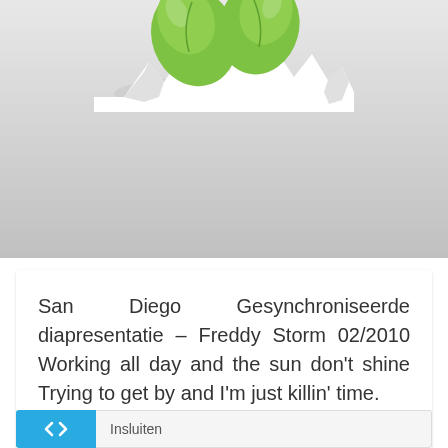[Figure (illustration): Green leaves or heart shapes bursting through torn white paper, on a gray gradient background]
San Diego Gesynchroniseerde diapresentatie – Freddy Storm 02/2010 Working all day and the sun don't shine Trying to get by and I'm just killin' time.
Gepubliceerd Anke Verbeek
Insluiten